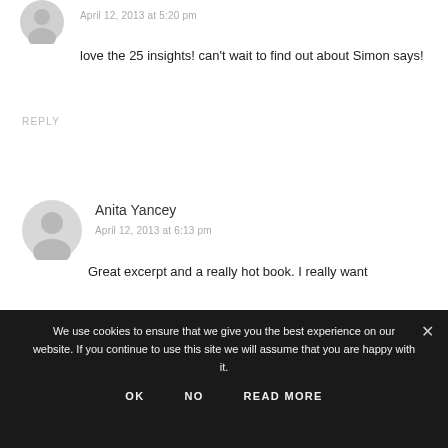April 12, 2013 at 5:20 pm
love the 25 insights! can't wait to find out about Simon says!
REPLY
Anita Yancey
April 12, 2013 at 6:13 pm
Great excerpt and a really hot book. I really want
We use cookies to ensure that we give you the best experience on our website. If you continue to use this site we will assume that you are happy with it.
OK   NO   READ MORE